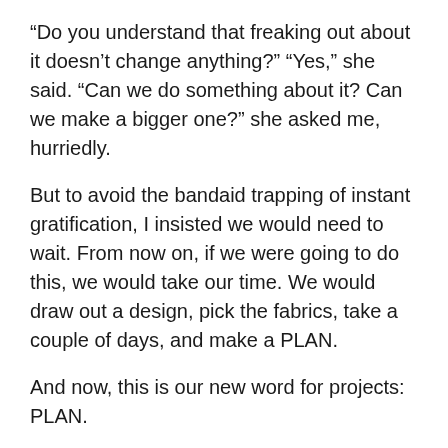“Do you understand that freaking out about it doesn’t change anything?”  “Yes,” she said.  “Can we do something about it?  Can we make a bigger one?” she asked me, hurriedly.
But to avoid the bandaid trapping of instant gratification, I insisted we would need to wait.  From now on, if we were going to do this, we would take our time.  We would draw out a design, pick the fabrics, take a couple of days, and make a PLAN.
And now, this is our new word for projects:  PLAN.
Several days later, after many talks about calming down and using our words, we drew pictures, we picked out fabrics, and we started working on another Steve.
We drew pictures.  We picked out button eyes.  We talked